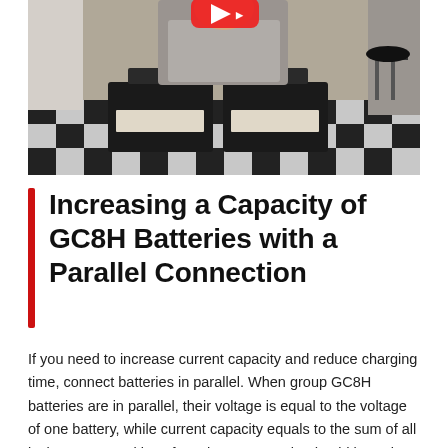[Figure (photo): A person in a grey shirt standing behind large black batteries on a black-and-white checkered floor in what appears to a workshop or classroom. A red play button icon is partially visible at the top center.]
Increasing a Capacity of GC8H Batteries with a Parallel Connection
If you need to increase current capacity and reduce charging time, connect batteries in parallel. When group GC8H batteries are in parallel, their voltage is equal to the voltage of one battery, while current capacity equals to the sum of all its battery capacities. If you have two 8V lead-acid batteries